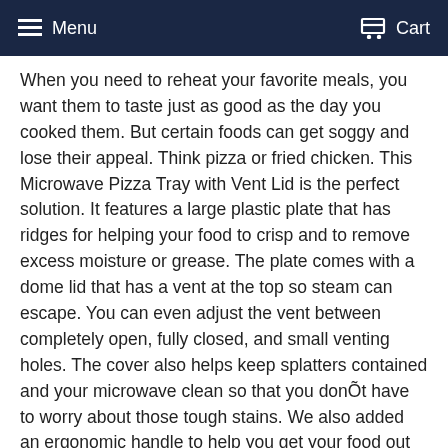Menu   Cart
When you need to reheat your favorite meals, you want them to taste just as good as the day you cooked them. But certain foods can get soggy and lose their appeal. Think pizza or fried chicken. This Microwave Pizza Tray with Vent Lid is the perfect solution. It features a large plastic plate that has ridges for helping your food to crisp and to remove excess moisture or grease. The plate comes with a dome lid that has a vent at the top so steam can escape. You can even adjust the vent between completely open, fully closed, and small venting holes. The cover also helps keep splatters contained and your microwave clean so that you donÕt have to worry about those tough stains. We also added an ergonomic handle to help you get your food out of the microwave without getting burned. The set measures 10.5Ó in diameter and is 5.25Ó tall, so it will fit in most microwaves with room to spare. You can use these pieces together or separately. The lid is transparent to allow you to see how your food is doing in the microwave. We recommend giving this set to a college student who is prepping their dorm, a friend who is getting married, or a